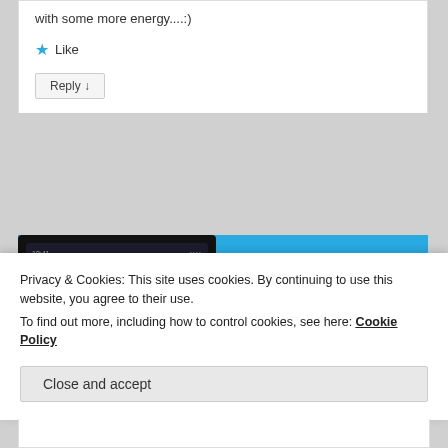with some more energy....:)
★ Like
Reply ↓
[Figure (screenshot): Day One journal app advertisement showing a phone mockup with photo grid on the left and blue background with text 'DAY ONE — Your Journal for life' on the right]
Privacy & Cookies: This site uses cookies. By continuing to use this website, you agree to their use.
To find out more, including how to control cookies, see here: Cookie Policy
Close and accept